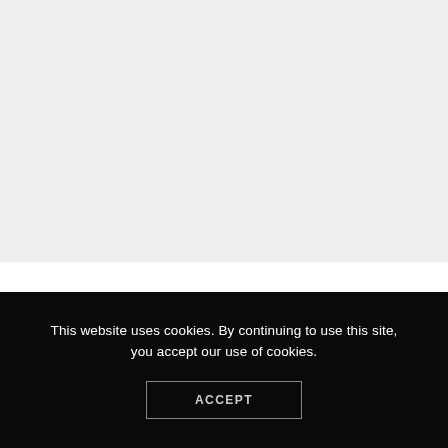[Figure (other): Light gray background area occupying the top portion of the page, likely a blurred or empty content area of a website screenshot.]
This website uses cookies. By continuing to use this site, you accept our use of cookies.
ACCEPT